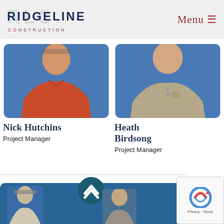RIDGELINE CONSTRUCTION
Menu ☰
[Figure (photo): Photo of Nick Hutchins wearing a red Ridgeline Construction polo shirt against a blue background]
Nick Hutchins
Project Manager
[Figure (photo): Photo of Heath Birdsong wearing a beige Ridgeline Construction polo shirt against a blue background]
Heath Birdsong
Project Manager
[Figure (photo): Bottom banner with two staff member photos partially visible on a blue background, scroll-up button in center]
[Figure (other): Google reCAPTCHA widget with logo and Privacy/Terms text]